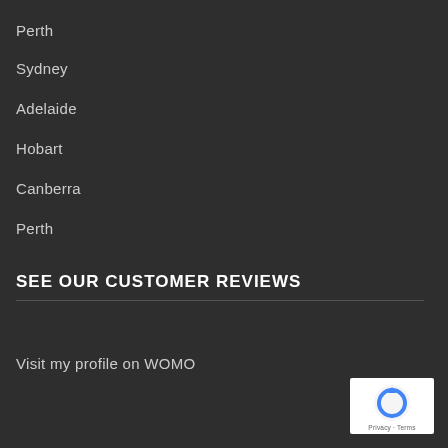Perth
Sydney
Adelaide
Hobart
Canberra
Perth
SEE OUR CUSTOMER REVIEWS
Visit my profile on WOMO
[Figure (logo): reCAPTCHA badge with circular arrow icon and Privacy - Terms text]